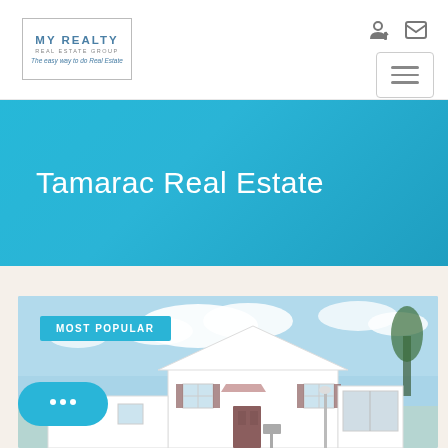[Figure (logo): My Realty Real Estate Group logo in a bordered box with tagline 'The easy way to do Real Estate']
[Figure (other): Login icon and envelope/mail icon in top right header]
[Figure (other): Hamburger menu button (three horizontal lines) in a bordered box]
Tamarac Real Estate
[Figure (photo): Exterior photo of a white single-story house with a blue sky and clouds background]
MOST POPULAR
[Figure (other): Chat bubble button with three dots in the bottom left corner]